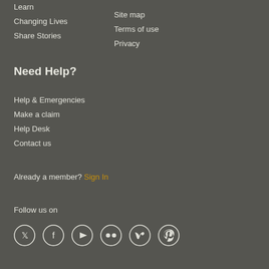Learn
Changing Lives
Share Stories
Site map
Terms of use
Privacy
Need Help?
Help & Emergencies
Make a claim
Help Desk
Contact us
Already a member? Sign In
Follow us on
[Figure (infographic): Six social media icons in circles: Twitter, Facebook, YouTube, Flickr, Vimeo, Pinterest]